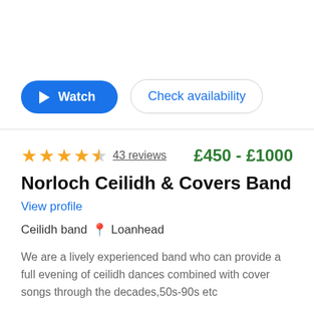[Figure (screenshot): Watch button (blue rounded) and Check availability button (white outlined)]
★★★★½ 43 reviews   £450 - £1000
Norloch Ceilidh & Covers Band
View profile
Ceilidh band  📍 Loanhead
We are a lively experienced band who can provide a full evening of ceilidh dances combined with cover songs through the decades,50s-90s etc